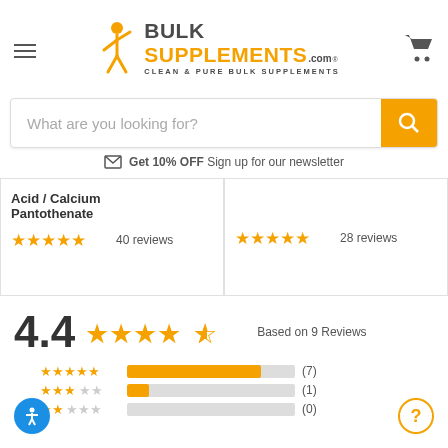[Figure (logo): BulkSupplements.com logo with orange stick figure and text 'BULK SUPPLEMENTS.com CLEAN & PURE BULK SUPPLEMENTS']
What are you looking for?
Get 10% OFF Sign up for our newsletter
Acid / Calcium Pantothenate  ★★★★★ 40 reviews
★★★★★ 28 reviews
4.4 ★★★★½ Based on 9 Reviews
★★★★★ (7)
★★★☆☆ (1)
★★☆☆☆ (0)